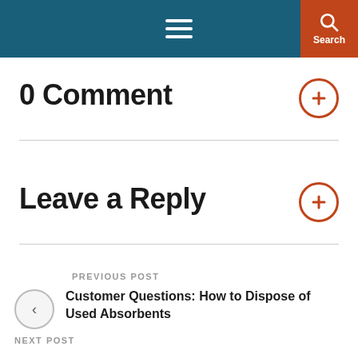☰ Search
0 Comment
Leave a Reply
PREVIOUS POST
Customer Questions: How to Dispose of Used Absorbents
NEXT POST